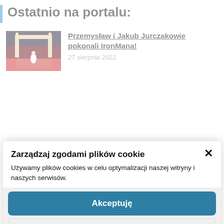Ostatnio na portalu:
[Figure (photo): Thumbnail photo of IronMan event finish line with red carpet, night scene with lights]
Przemysław i Jakub Jurczakowie pokonali IronMana!
27 sierpnia 2022
Zarządzaj zgodami plików cookie
Używamy plików cookies w celu optymalizacji naszej witryny i naszych serwisów.
Akceptuję
Odmów
Preferencje